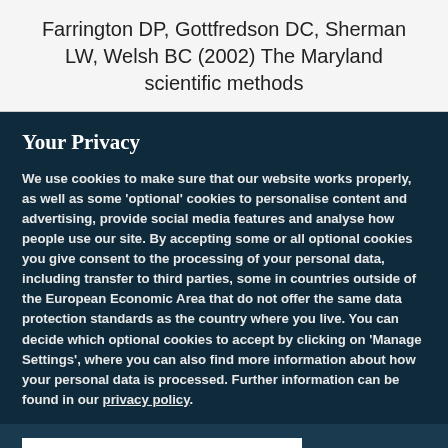Farrington DP, Gottfredson DC, Sherman LW, Welsh BC (2002) The Maryland scientific methods
Your Privacy
We use cookies to make sure that our website works properly, as well as some 'optional' cookies to personalise content and advertising, provide social media features and analyse how people use our site. By accepting some or all optional cookies you give consent to the processing of your personal data, including transfer to third parties, some in countries outside of the European Economic Area that do not offer the same data protection standards as the country where you live. You can decide which optional cookies to accept by clicking on 'Manage Settings', where you can also find more information about how your personal data is processed. Further information can be found in our privacy policy.
Accept all cookies
Manage preferences